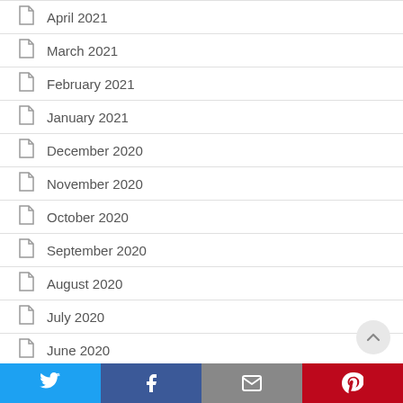April 2021
March 2021
February 2021
January 2021
December 2020
November 2020
October 2020
September 2020
August 2020
July 2020
June 2020
Twitter | Facebook | Email | Pinterest